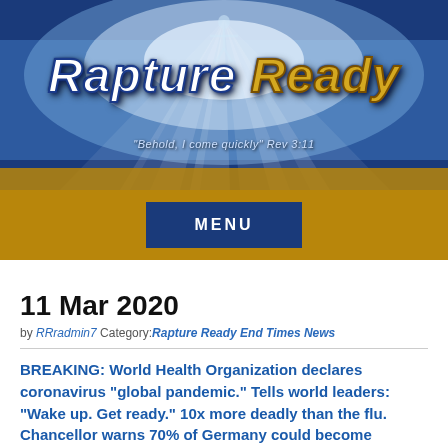[Figure (logo): Rapture Ready website banner with blue sky, light rays, figure silhouette, site name 'Rapture Ready' in large italic text, and subtitle 'Behold, I come quickly Rev 3:11']
MENU
11 Mar 2020
by RRradmin7 Category: Rapture Ready End Times News
BREAKING: World Health Organization declares coronavirus "global pandemic." Tells world leaders: "Wake up. Get ready." 10x more deadly than the flu. Chancellor warns 70% of Germany could become infected. Global markets falling. Israeli cases continue to climb. Here's the latest. #PleasePray
Panic is wrong. We need to stay calm. We need to trust in Scriptures and prayer and trust the Lord to...